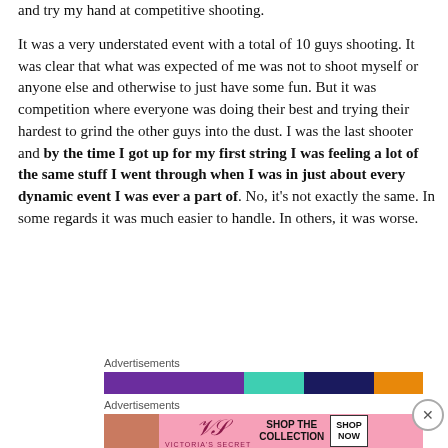and try my hand at competitive shooting.

It was a very understated event with a total of 10 guys shooting. It was clear that what was expected of me was not to shoot myself or anyone else and otherwise to just have some fun. But it was competition where everyone was doing their best and trying their hardest to grind the other guys into the dust. I was the last shooter and by the time I got up for my first string I was feeling a lot of the same stuff I went through when I was in just about every dynamic event I was ever a part of. No, it’s not exactly the same. In some regards it was much easier to handle. In others, it was worse.
[Figure (other): Advertisement banner strip with colorful background (purple, teal, orange)]
[Figure (other): Victoria's Secret advertisement banner with model photo and 'SHOP THE COLLECTION' text and 'SHOP NOW' button]